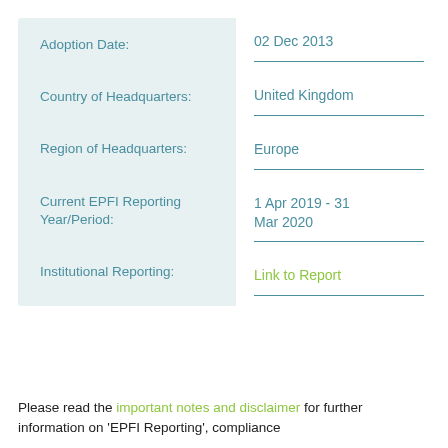| Field | Value |
| --- | --- |
| Adoption Date: | 02 Dec 2013 |
| Country of Headquarters: | United Kingdom |
| Region of Headquarters: | Europe |
| Current EPFI Reporting Year/Period: | 1 Apr 2019 - 31 Mar 2020 |
| Institutional Reporting: | Link to Report |
Please read the important notes and disclaimer for further information on 'EPFI Reporting', compliance